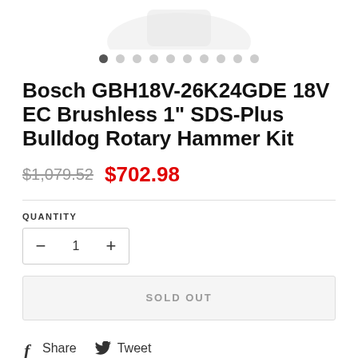[Figure (photo): Partial view of product image at top of page (cropped, mostly white background)]
Image navigation dots (1 active, 9 inactive)
Bosch GBH18V-26K24GDE 18V EC Brushless 1" SDS-Plus Bulldog Rotary Hammer Kit
$1,079.52  $702.98
QUANTITY
- 1 +
SOLD OUT
Share  Tweet